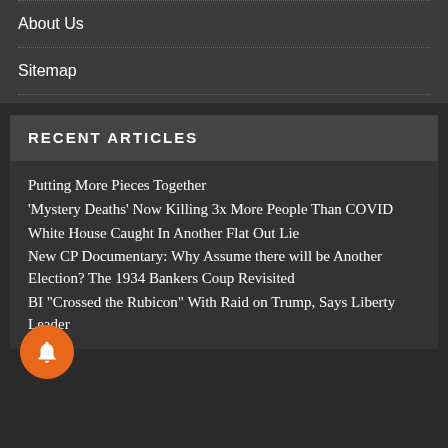About Us
Sitemap
RECENT ARTICLES
Putting More Pieces Together
‘Mystery Deaths’ Now Killing 3x More People Than COVID
White House Caught In Another Flat Out Lie
New CP Documentary: Why Assume there will be Another Election? The 1934 Bankers Coup Revisited
FBI “Crossed the Rubicon” With Raid on Trump, Says Liberty Leader